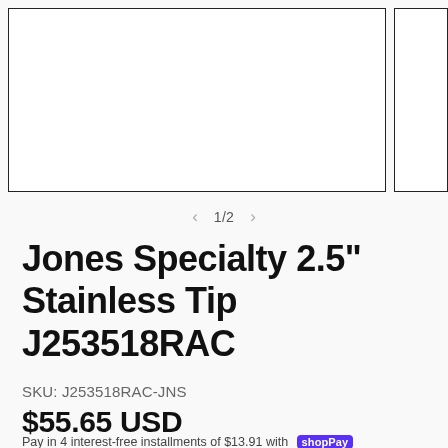[Figure (photo): Product image area showing a large white box with black border (main product image placeholder) and a smaller thumbnail box to the right, both on a light gray background.]
1/2
Jones Specialty 2.5" Stainless Tip J253518RAC
SKU: J253518RAC-JNS
$55.65 USD
Pay in 4 interest-free installments of $13.91 with Shop Pay